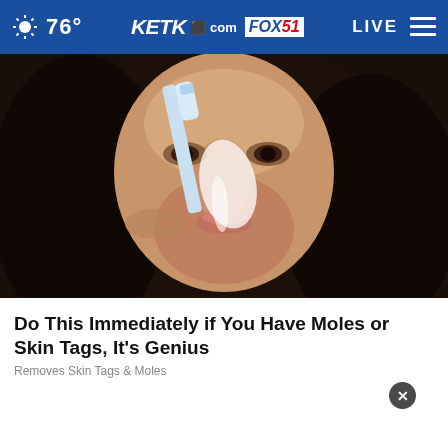76° KETK.com FOX51 LIVE
[Figure (photo): Close-up photo of a woman applying white substance to her nose with a toothbrush]
Do This Immediately if You Have Moles or Skin Tags, It's Genius
Removes Skin Tags & Moles
[Figure (advertisement): Exceptional Emergency Center advertisement - Click For Directions]